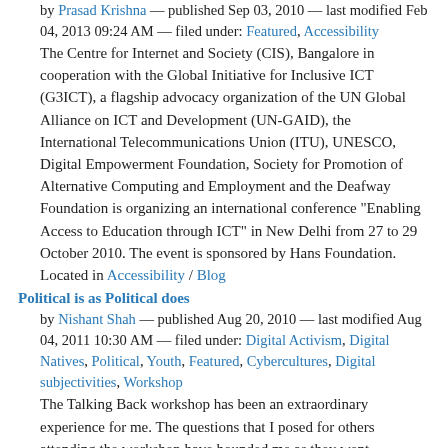by Prasad Krishna — published Sep 03, 2010 — last modified Feb 04, 2013 09:24 AM — filed under: Featured, Accessibility
The Centre for Internet and Society (CIS), Bangalore in cooperation with the Global Initiative for Inclusive ICT (G3ICT), a flagship advocacy organization of the UN Global Alliance on ICT and Development (UN-GAID), the International Telecommunications Union (ITU), UNESCO, Digital Empowerment Foundation, Society for Promotion of Alternative Computing and Employment and the Deafway Foundation is organizing an international conference "Enabling Access to Education through ICT" in New Delhi from 27 to 29 October 2010. The event is sponsored by Hans Foundation.
Located in Accessibility / Blog
Political is as Political does
by Nishant Shah — published Aug 20, 2010 — last modified Aug 04, 2011 10:30 AM — filed under: Digital Activism, Digital Natives, Political, Youth, Featured, Cybercultures, Digital subjectivities, Workshop
The Talking Back workshop has been an extraordinary experience for me. The questions that I posed for others attending the workshop have hounded me as they went